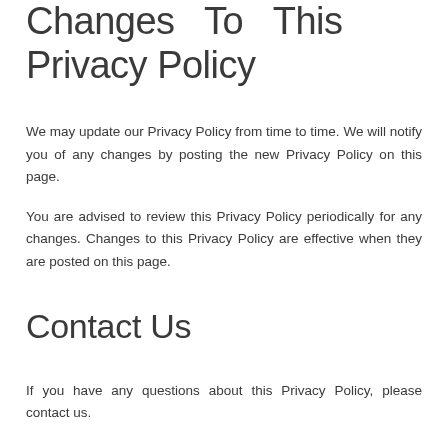Changes To This Privacy Policy
We may update our Privacy Policy from time to time. We will notify you of any changes by posting the new Privacy Policy on this page.
You are advised to review this Privacy Policy periodically for any changes. Changes to this Privacy Policy are effective when they are posted on this page.
Contact Us
If you have any questions about this Privacy Policy, please contact us.